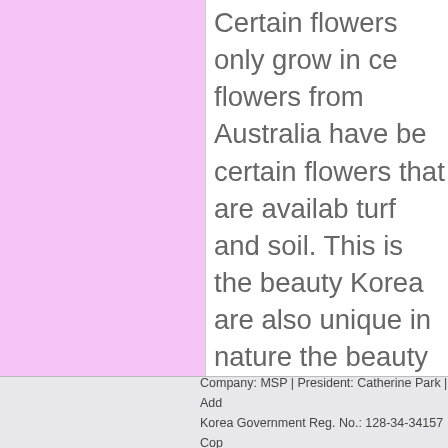Certain flowers only grow in ce flowers from Australia have be certain flowers that are availab turf and soil. This is the beauty Korea are also unique in nature the beauty of the land. Flowers and create an ambience worth a be a part of the cultural value s flowers of Korea and have evei flowers of Korea are also enjoy Korea have even become exoti vibrant and full of fragrance. T quality. Flowers of Korea have flowers in Korea have been suc purifying the air.

When one travels to Korea, one beauty of the flowers and the la themselves that is unique and c activity in New York. In the Cit tickets each year, contributing t revenues.
Company: MSP | President: Catherine Park | Add Korea Government Reg. No.: 128-34-34157  Cop